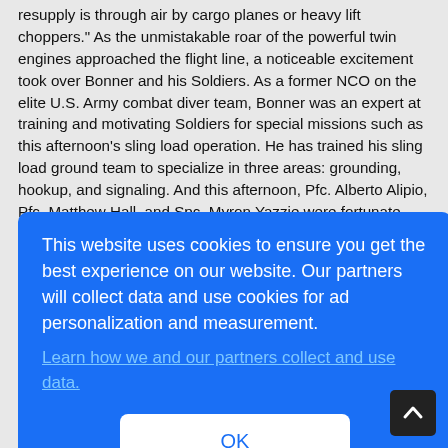resupply is through air by cargo planes or heavy lift choppers." As the unmistakable roar of the powerful twin engines approached the flight line, a noticeable excitement took over Bonner and his Soldiers. As a former NCO on the elite U.S. Army combat diver team, Bonner was an expert at training and motivating Soldiers for special missions such as this afternoon's sling load operation. He has trained his sling load ground team to specialize in three areas: grounding, hookup, and signaling. And this afternoon, Pfc. Alberto Alipio, Pfc. Matthew Hall, and Spc. Myron Yazzie were fortunate enough to serve as members of the ground team. At the signal of the helicopter crew chief, the team rushed
[Figure (screenshot): Cookie consent overlay on a blue background with text: 'This website uses cookies to ensure you get the best experience on our website. Our partners will collect data and use cookies for ad personalization and measurement.' with a link 'Learn how we and our partners collect and use data.' and an OK button.]
2006, Team Korea won at the Army level again. In 2007 they won